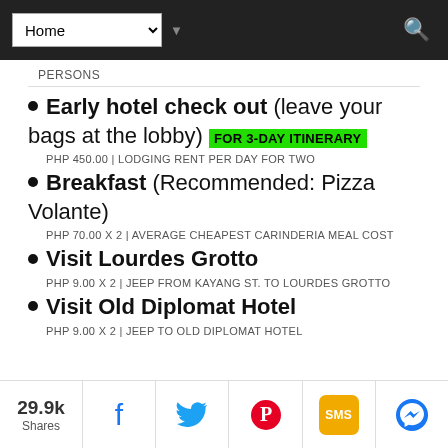Home (navigation bar with search icon)
PERSONS
Early hotel check out (leave your bags at the lobby) FOR 3-DAY ITINERARY
PHP 450.00 | LODGING RENT PER DAY FOR TWO
Breakfast (Recommended: Pizza Volante)
PHP 70.00 X 2 | AVERAGE CHEAPEST CARINDERIA MEAL COST
Visit Lourdes Grotto
PHP 9.00 X 2 | JEEP FROM KAYANG ST. TO LOURDES GROTTO
Visit Old Diplomat Hotel
PHP 9.00 X 2 | JEEP TO OLD DIPLOMAT HOTEL
29.9k Shares | Facebook | Twitter | Pinterest | SMS | Messenger